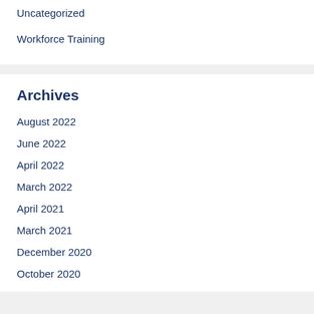Uncategorized
Workforce Training
Archives
August 2022
June 2022
April 2022
March 2022
April 2021
March 2021
December 2020
October 2020